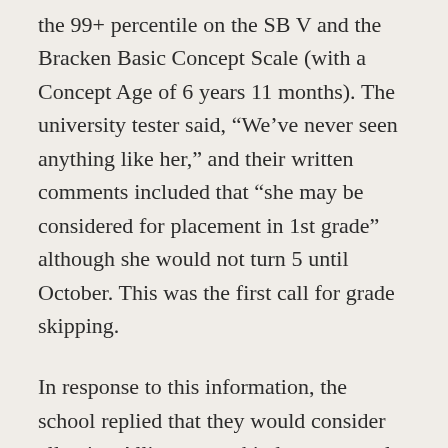the 99+ percentile on the SB V and the Bracken Basic Concept Scale (with a Concept Age of 6 years 11 months). The university tester said, “We’ve never seen anything like her,” and their written comments included that “she may be considered for placement in 1st grade” although she would not turn 5 until October. This was the first call for grade skipping.
In response to this information, the school replied that they would consider allowing Allie to enter kindergarten early. Because we saw no benefit, we decided to homeschool her. In that year, she read over 15,000 pages of chapter books (including over a